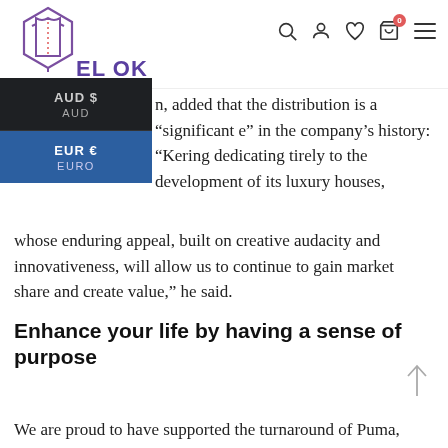[Figure (logo): Shirt/clothing logo icon in purple/violet outline style with hexagonal frame and stand]
EL OK
n, added that the distribution is a “significant e” in the company’s history: “Kering dedicating tirely to the development of its luxury houses, whose enduring appeal, built on creative audacity and innovativeness, will allow us to continue to gain market share and create value,” he said.
Enhance your life by having a sense of purpose
We are proud to have supported the turnaround of Puma,